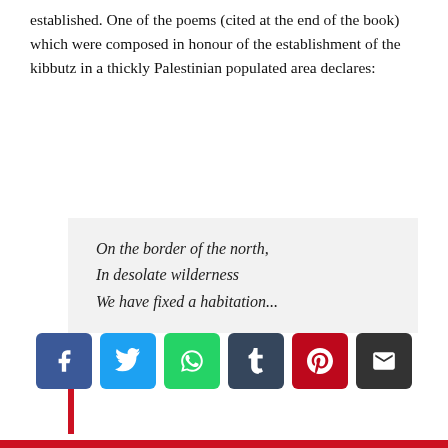established. One of the poems (cited at the end of the book) which were composed in honour of the establishment of the kibbutz in a thickly Palestinian populated area declares:
On the border of the north,
In desolate wilderness
We have fixed a habitation...
[Figure (other): Row of six social media share buttons: Facebook (blue), Twitter (light blue), WhatsApp (green), Tumblr (dark blue), Pinterest (red), Email (dark/black)]